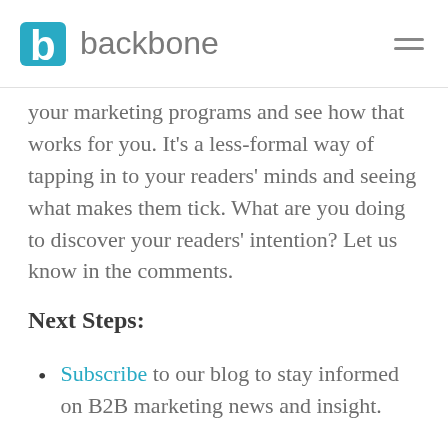backbone
your marketing programs and see how that works for you. It's a less-formal way of tapping in to your readers' minds and seeing what makes them tick. What are you doing to discover your readers' intention? Let us know in the comments.
Next Steps:
Subscribe to our blog to stay informed on B2B marketing news and insight.